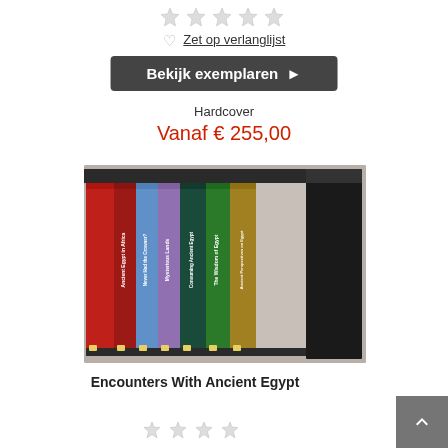[Figure (illustration): Five gray empty star rating icons at the top of the page]
♡ Zet op verlanglijst
Bekijk exemplaren ▶
Hardcover
Vanaf € 255,00
[Figure (photo): A box set of books titled Encounters With Ancient Egypt, showing multiple colorful book spines including titles: Imhotep Today: Egyptianizing Architecture, Ancient Egypt in Africa, Never Had the Crowner?, Mysterious Lands, Consuming Ancient Egypt, The Wisdom of Egypt, Ancient Perspectives on Egypt]
Encounters With Ancient Egypt
[Figure (illustration): Four gray empty star rating icons at the bottom of the page]
^